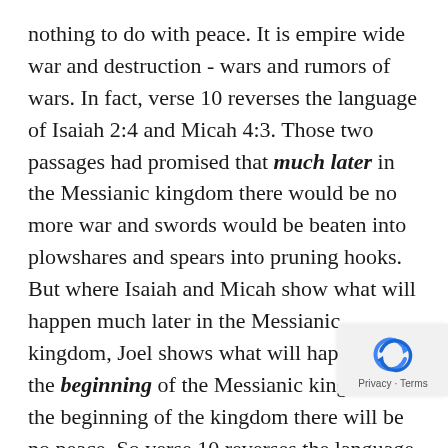nothing to do with peace. It is empire wide war and destruction - wars and rumors of wars. In fact, verse 10 reverses the language of Isaiah 2:4 and Micah 4:3. Those two passages had promised that much later in the Messianic kingdom there would be no more war and swords would be beaten into plowshares and spears into pruning hooks. But where Isaiah and Micah show what will happen much later in the Messianic kingdom, Joel shows what will happen at the beginning of the Messianic kingdom. At the beginning of the kingdom there will be no peace. So verse 10 reverses the language of Isaiah and Micah by saying, "Beat your plowshares into swords and your pruning into spears." Every energy would be placed into
[Figure (logo): reCAPTCHA privacy badge with blue recycle-arrow icon and Privacy·Terms text]